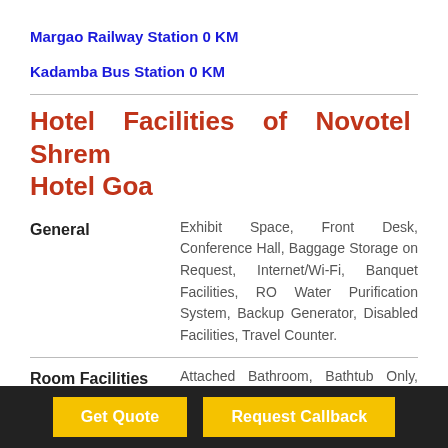Margao Railway Station 0 KM
Kadamba Bus Station 0 KM
Hotel Facilities of Novotel Shrem Hotel Goa
General
Exhibit Space, Front Desk, Conference Hall, Baggage Storage on Request, Internet/Wi-Fi, Banquet Facilities, RO Water Purification System, Backup Generator, Disabled Facilities, Travel Counter.
Room Facilities
Attached Bathroom, Bathtub Only, Dustbins, Safe In Room, Fax Machine Room, Child Care, Iron/Ironing Board, Toiletries, Water in Room, Internet...
Get Quote
Request Callback